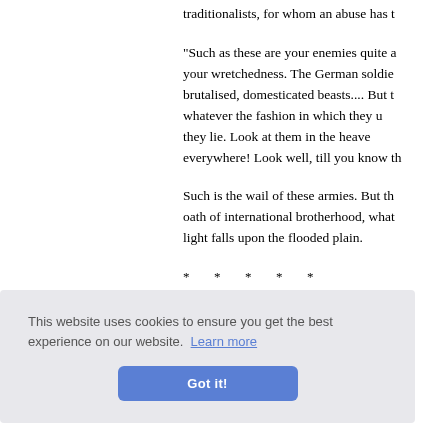traditionalists, for whom an abuse has t
"Such as these are your enemies quite a your wretchedness. The German soldie brutalised, domesticated beasts.... But t whatever the fashion in which they u they lie. Look at them in the heave everywhere! Look well, till you know th
Such is the wail of these armies. But th oath of international brotherhood, what light falls upon the flooded plain.
* * * * *
ake the s e nation many d sed of w , like the in this proletariat of the armies ther
This website uses cookies to ensure you get the best experience on our website. Learn more
Got it!